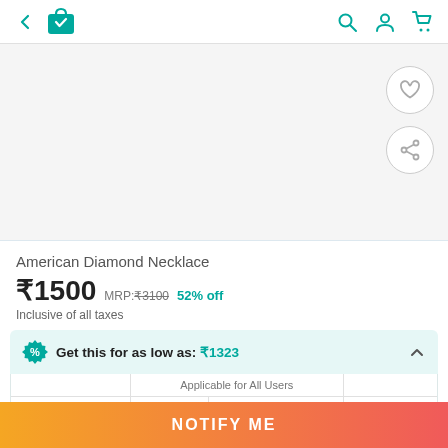← [cart icon] [search icon] [user icon] [cart icon]
[Figure (screenshot): Product image area (white/light gray background) with heart and share action buttons on the right side]
American Diamond Necklace
₹1500  MRP:₹3100  52% off
Inclusive of all taxes
Get this for as low as: ₹1323
|  | Applicable for All Users |  |  |
| --- | --- | --- | --- |
| Original Price | Apply
Shopping... | Use Coupon
MYSHOPPING... | Deal Price |
NOTIFY ME